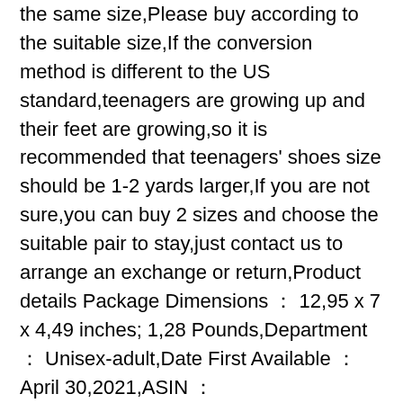the same size,Please buy according to the suitable size,If the conversion method is different to the US standard,teenagers are growing up and their feet are growing,so it is recommended that teenagers' shoes size should be 1-2 yards larger,If you are not sure,you can buy 2 sizes and choose the suitable pair to stay,just contact us to arrange an exchange or return,Product details Package Dimensions ： 12,95 x 7 x 4,49 inches; 1,28 Pounds,Department ： Unisex-adult,Date First Available ： April 30,2021,ASIN ： B093W5GBV4,The features of this track and field nail shoes are : air permeable cloth,wear resistant steel nails,wear resistant shoelaces,strengthening stability,heel protection,antiskid design,1 ① Mesh ventilation design : Using elastic permeable mesh,car-like diversion heat dissipation system,synchronous ventilation in movement,feet like